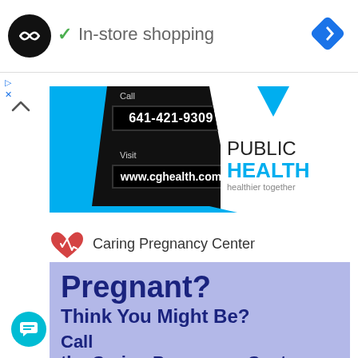[Figure (screenshot): Google Maps style UI top bar with loop logo, in-store shopping checkmark, and navigation diamond icon]
✓ In-store shopping
[Figure (screenshot): Public Health advertisement banner showing phone number 641-421-9309 and website www.cghealth.com with PUBLIC HEALTH healthier together branding]
[Figure (logo): Caring Pregnancy Center logo with red heart]
Caring Pregnancy Center
Pregnant?
Think You Might Be?
Call
the Caring Pregnancy Center